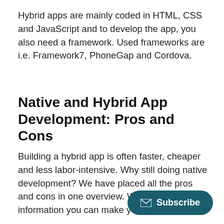Hybrid apps are mainly coded in HTML, CSS and JavaScript and to develop the app, you also need a framework. Used frameworks are i.e. Framework7, PhoneGap and Cordova.
Native and Hybrid App Development: Pros and Cons
Building a hybrid app is often faster, cheaper and less labor-intensive. Why still doing native development? We have placed all the pros and cons in one overview. With this information you can make your own decision!